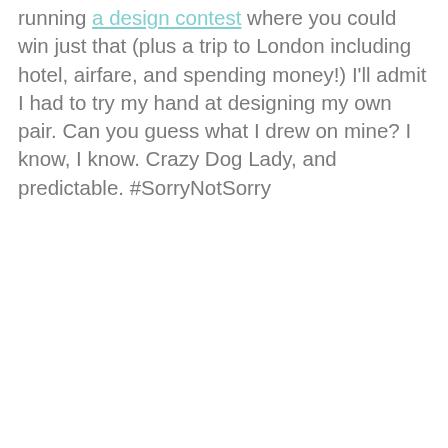running a design contest where you could win just that (plus a trip to London including hotel, airfare, and spending money!) I'll admit I had to try my hand at designing my own pair. Can you guess what I drew on mine? I know, I know. Crazy Dog Lady, and predictable. #SorryNotSorry